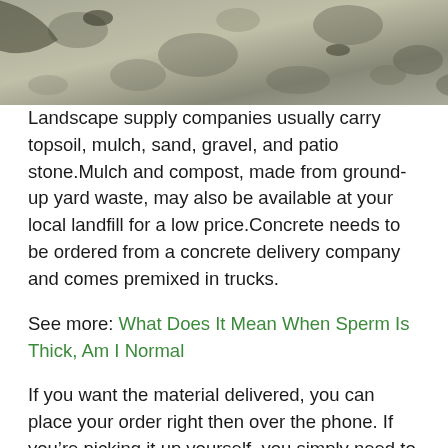[Figure (photo): Close-up photo of gravel or stone material, gray and textured]
Landscape supply companies usually carry topsoil, mulch, sand, gravel, and patio stone.Mulch and compost, made from ground-up yard waste, may also be available at your local landfill for a low price.Concrete needs to be ordered from a concrete delivery company and comes premixed in trucks.
See more: What Does It Mean When Sperm Is Thick, Am I Normal
If you want the material delivered, you can place your order right then over the phone. If you’re picking it up yourself, you simply need to drive into the supply yard, park at the office or booth, and go inside to place your order and pay. The staff person will then direct you to the loading area, where a front-end loader will come and scoop the material into